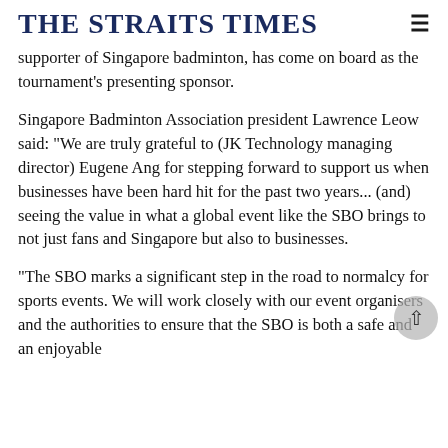THE STRAITS TIMES
supporter of Singapore badminton, has come on board as the tournament's presenting sponsor.
Singapore Badminton Association president Lawrence Leow said: "We are truly grateful to (JK Technology managing director) Eugene Ang for stepping forward to support us when businesses have been hard hit for the past two years... (and) seeing the value in what a global event like the SBO brings to not just fans and Singapore but also to businesses.
"The SBO marks a significant step in the road to normalcy for sports events. We will work closely with our event organisers and the authorities to ensure that the SBO is both a safe and an enjoyable